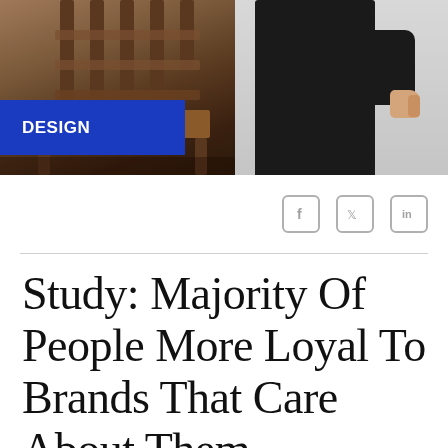[Figure (photo): Split photo banner: left side shows close-up of a wooden chair with dark brown slats and legs; right side shows a person wearing black jeans with one hand visible at hip level against a light gray background.]
DESIGN
[Figure (other): Social media share icons: Facebook, Twitter, LinkedIn — grey rounded square icons aligned to the right]
Study: Majority Of People More Loyal To Brands That Care About Them.